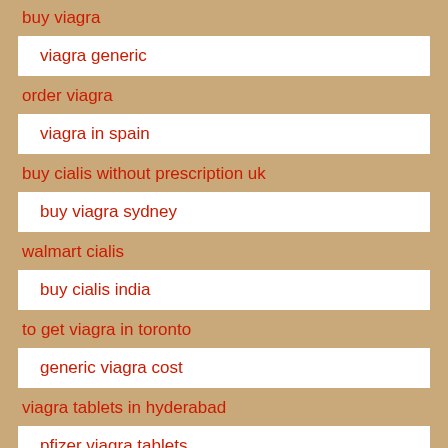buy viagra
viagra generic
order viagra
viagra in spain
buy cialis without prescription uk
buy viagra sydney
walmart cialis
buy cialis india
to get viagra in toronto
generic viagra cost
viagra tablets in hyderabad
pfizer viagra tablets
how to buy cialis in canada